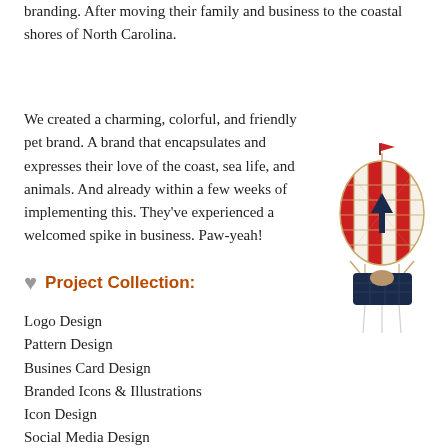branding. After moving their family and business to the coastal shores of North Carolina.
We created a charming, colorful, and friendly pet brand. A brand that encapsulates and expresses their love of the coast, sea life, and animals. And already within a few weeks of implementing this. They've experienced a welcomed spike in business. Paw-yeah!
[Figure (illustration): A decorative hot air balloon illustration with red and white stripes, a navy basket, a red flag on top, and dangling strings below.]
♥ Project Collection:
Logo Design
Pattern Design
Busines Card Design
Branded Icons & Illustrations
Icon Design
Social Media Design